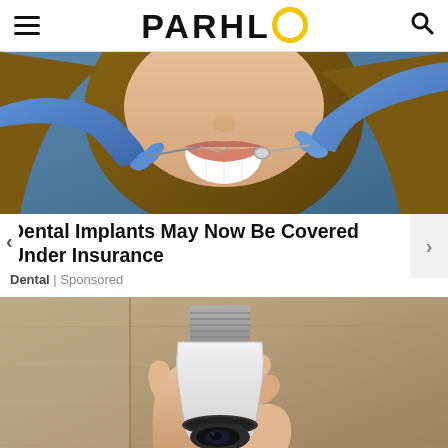PARHLO
[Figure (photo): Close-up dental examination photo showing a smiling woman with blue-gloved hands holding dental instruments near her teeth]
Dental Implants May Now Be Covered Under Insurance
Dental | Sponsored
[Figure (photo): Person holding a white smart light bulb with camera/security device built in, against a wooden background]